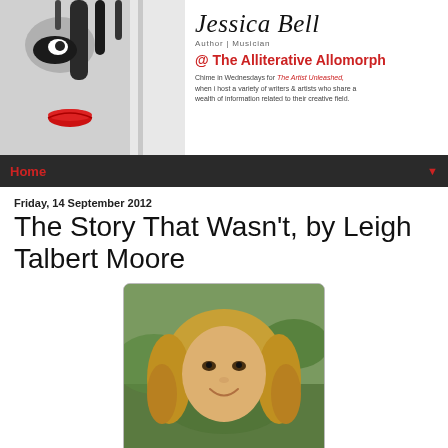[Figure (illustration): Blog header banner for Jessica Bell, Author | Musician @ The Alliterative Allomorph. Left side shows abstract black and white artwork of a woman's face with red lips and ink drips. Right side shows the name 'Jessica Bell' in italic script, 'Author | Musician', '@ The Alliterative Allomorph' in red, and text 'Chime in Wednesdays for The Artist Unleashed, when i host a variety of writers & artists who share a wealth of information related to their creative field.']
Home ♥
Friday, 14 September 2012
The Story That Wasn't, by Leigh Talbert Moore
[Figure (photo): Photo of a woman with curly blonde hair, smiling, with greenery in the background.]